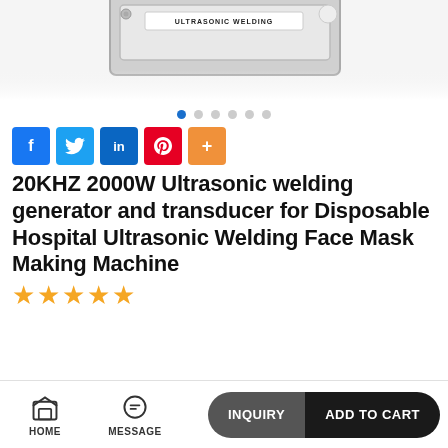[Figure (photo): Partial view of an ultrasonic welding generator device, showing top portion of the machine with a label reading 'ULTRASONIC WELDING'.]
[Figure (other): Carousel navigation dots: 6 dots, first one filled/active in blue, rest in gray.]
[Figure (other): Social media share buttons: Facebook (blue), Twitter (light blue), LinkedIn (dark blue), Pinterest (red), More/Plus (orange).]
20KHZ 2000W Ultrasonic welding generator and transducer for Disposable Hospital Ultrasonic Welding Face Mask Making Machine
[Figure (other): Five orange star rating icons indicating a 5-star rating.]
HOME  MESSAGE  INQUIRY  ADD TO CART